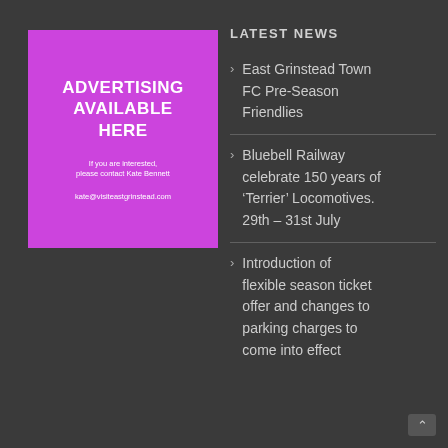[Figure (infographic): Purple advertising box with text: ADVERTISING AVAILABLE HERE. If you are interested, please contact Kate Bennett. kate@visiteastgrinstead.com]
LATEST NEWS
East Grinstead Town FC Pre-Season Friendlies
Bluebell Railway celebrate 150 years of 'Terrier' Locomotives. 29th – 31st July
Introduction of flexible season ticket offer and changes to parking charges to come into effect